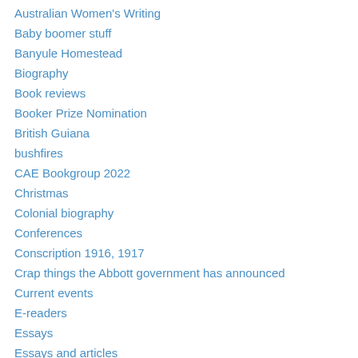Australian Women's Writing
Baby boomer stuff
Banyule Homestead
Biography
Book reviews
Booker Prize Nomination
British Guiana
bushfires
CAE Bookgroup 2022
Christmas
Colonial biography
Conferences
Conscription 1916, 1917
Crap things the Abbott government has announced
Current events
E-readers
Essays
Essays and articles
Exhibitions
Film